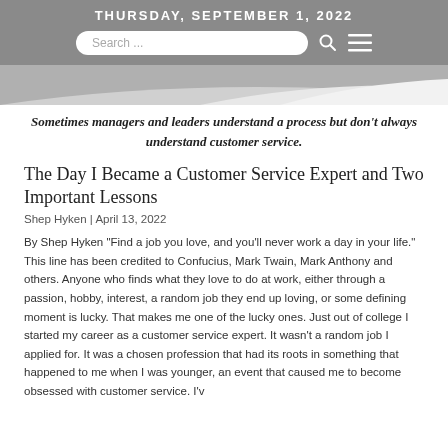THURSDAY, SEPTEMBER 1, 2022
[Figure (illustration): Website banner with diagonal wave shapes in grey and white tones]
Sometimes managers and leaders understand a process but don't always understand customer service.
The Day I Became a Customer Service Expert and Two Important Lessons
Shep Hyken | April 13, 2022
By Shep Hyken "Find a job you love, and you'll never work a day in your life." This line has been credited to Confucius, Mark Twain, Mark Anthony and others. Anyone who finds what they love to do at work, either through a passion, hobby, interest, a random job they end up loving, or some defining moment is lucky. That makes me one of the lucky ones. Just out of college I started my career as a customer service expert. It wasn't a random job I applied for. It was a chosen profession that had its roots in something that happened to me when I was younger, an event that caused me to become obsessed with customer service. I'v...